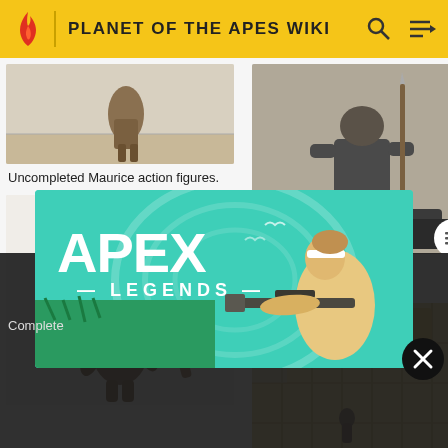PLANET OF THE APES WIKI
[Figure (photo): Uncompleted Maurice action figure - partial view of a primate toy on wooden floor]
Uncompleted Maurice action figures.
[Figure (photo): Uncompleted ape figure holding a staff, front view on white background]
[Figure (photo): Completed Caesar action figure on dark stone base]
Completed Caesar action figures.
[Figure (photo): Scene with ape figures and yellow/straw colored structure backdrop]
Completed
[Figure (screenshot): Apex Legends advertisement banner with character holding a rifle on teal background]